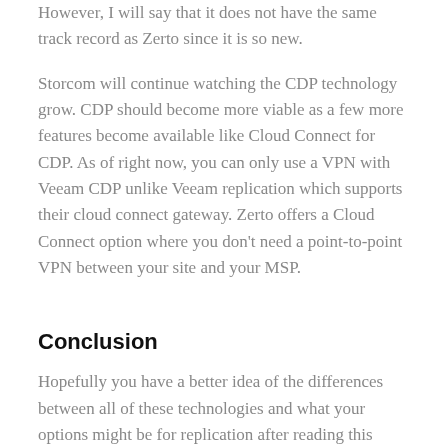However, I will say that it does not have the same track record as Zerto since it is so new.
Storcom will continue watching the CDP technology grow. CDP should become more viable as a few more features become available like Cloud Connect for CDP. As of right now, you can only use a VPN with Veeam CDP unlike Veeam replication which supports their cloud connect gateway. Zerto offers a Cloud Connect option where you don't need a point-to-point VPN between your site and your MSP.
Conclusion
Hopefully you have a better idea of the differences between all of these technologies and what your options might be for replication after reading this blog. There is still a lot more to cover. I did not get very far into the differences as they